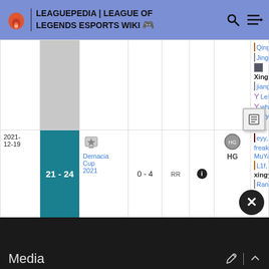LEAGUEPEDIA | LEAGUE OF LEGENDS ESPORTS WIKI
| Date | Score | Tournament | Score2 | Type | Info | Opp | Players |
| --- | --- | --- | --- | --- | --- | --- | --- |
|  |  |  |  |  |  | Qing., Jingy, Xing, jiang., Lele, why, Juicy |  |
| 2021-12-19 | 21 - 24 | Demacia Cup 2021 | 0 - 4 | RR |  | HG | eyy, freak, MuYang, L1f, xingye, Ran |
Media